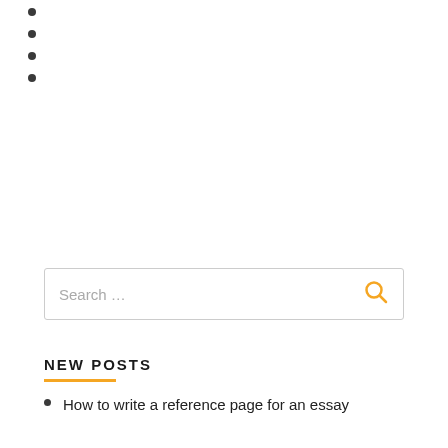[Figure (other): Search input box with placeholder 'Search ...' and an orange magnifying glass icon on the right]
NEW POSTS
How to write a reference page for an essay